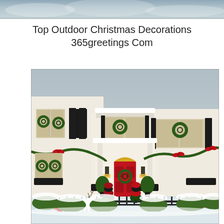[Figure (photo): Partial top strip of a winter/snowy sky scene, cropped at the top of the page]
Top Outdoor Christmas Decorations
365greetings Com
[Figure (photo): A large white colonial-style house decorated with outdoor Christmas decorations: multiple green wreaths on windows, red front door, garland with red bows along porch railings, decorative topiaries with ornamental balls at the front gate, a white reindeer figure, Christmas bows among snowy shrubs, and wall-mounted lanterns flanking the red door.]